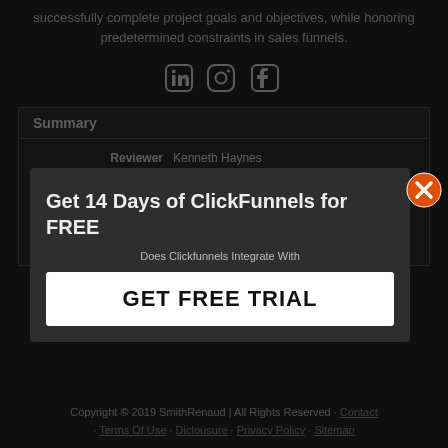successfully complete project goals and objectives, while honoring predetermined constraints in sales funnels.
[Figure (other): Social media icons: LinkedIn, Instagram, Facebook]
Summary
| Label | Value |
| --- | --- |
| Reviewer | Kenneth Haynes |
| Review Summary | ... |
| Reviewed Item | Does Clickfunnels Integrate With |
| Author Rating | ★★★★★ |
[Figure (other): Popup modal: 'Get 14 Days of ClickFunnels for FREE' with GET FREE TRIAL button and close (X) button]
Copyright © 2019 SmithRenaud | All Rights Reserved · Contact · Terms Of Use · Diclousure · Privacy Policy · Sitemap